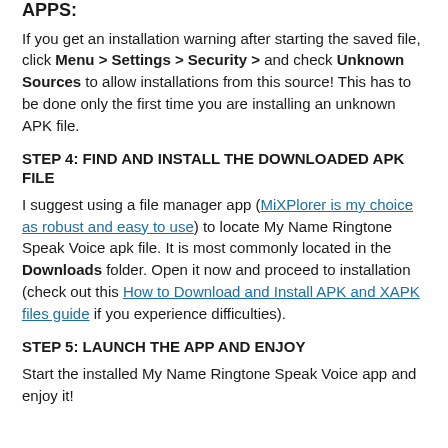APPS:
If you get an installation warning after starting the saved file, click Menu > Settings > Security > and check Unknown Sources to allow installations from this source! This has to be done only the first time you are installing an unknown APK file.
STEP 4: FIND AND INSTALL THE DOWNLOADED APK FILE
I suggest using a file manager app (MiXPlorer is my choice as robust and easy to use) to locate My Name Ringtone Speak Voice apk file. It is most commonly located in the Downloads folder. Open it now and proceed to installation (check out this How to Download and Install APK and XAPK files guide if you experience difficulties).
STEP 5: LAUNCH THE APP AND ENJOY
Start the installed My Name Ringtone Speak Voice app and enjoy it!